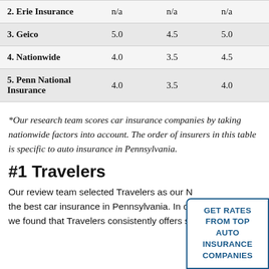| 2. Erie Insurance | n/a | n/a | n/a |
| 3. Geico | 5.0 | 4.5 | 5.0 |
| 4. Nationwide | 4.0 | 3.5 | 4.5 |
| 5. Penn National Insurance | 4.0 | 3.5 | 4.0 |
*Our research team scores car insurance companies by taking nationwide factors into account. The order of insurers in this table is specific to auto insurance in Pennsylvania.
#1 Travelers
Our review team selected Travelers as our No. 1 pick for the best car insurance in Pennsylvania. In our review, we found that Travelers consistently offers s...